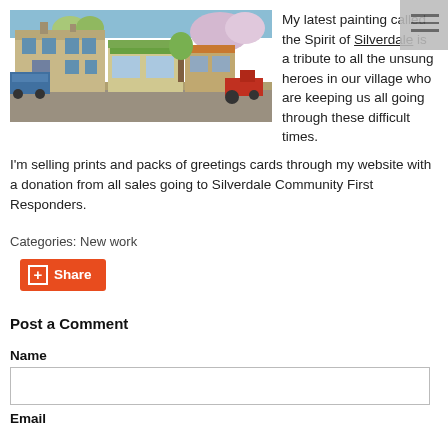[Figure (photo): A painting of a village street scene called 'Spirit of Silverdale', showing stone buildings, shops, trees, a bus, and a tractor.]
My latest painting called the Spirit of Silverdale is a tribute to all the unsung heroes in our village who are keeping us all going through these difficult times.
I'm selling prints and packs of greetings cards through my website with a donation from all sales going to Silverdale Community First Responders.
Categories: New work
[Figure (other): Share button with orange background and plus icon]
Post a Comment
Name
Email